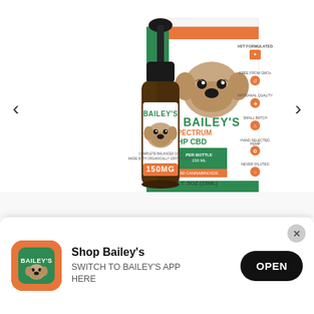[Figure (photo): Bailey's CBD oil bottle (150mg, 15ml) with dropper, brown glass bottle with white label featuring a pug dog illustration and green 'BAILEY'S' text, alongside the product box showing full spectrum hemp CBD branding with orange and green colors, navigation arrows on left and right sides]
[Figure (logo): Bailey's app icon - orange background with green rounded square and white 'BAILEY'S' text]
Shop Bailey's
SWITCH TO BAILEY'S APP HERE
OPEN